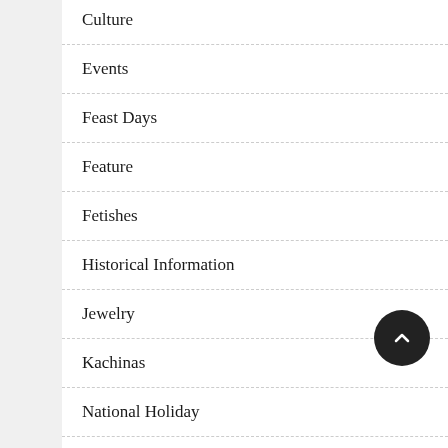Culture
Events
Feast Days
Feature
Fetishes
Historical Information
Jewelry
Kachinas
National Holiday
Nov…